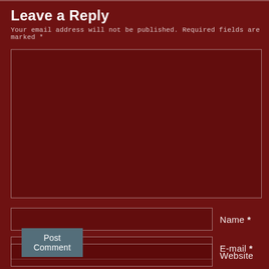Leave a Reply
Your email address will not be published. Required fields are marked *
[Figure (other): Large comment text area input box with dark red background and white border]
Name *
E-mail *
Website
Post Comment